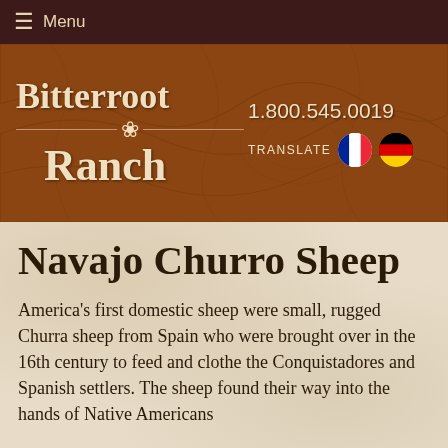☰ Menu
[Figure (logo): Bitterroot Ranch logo with brand name in two lines, decorative flower divider, phone number 1.800.545.0019, TRANSLATE label with French and German flag icons, on a brown wood-texture background]
Navajo Churro Sheep
America's first domestic sheep were small, rugged Churra sheep from Spain who were brought over in the 16th century to feed and clothe the Conquistadores and Spanish settlers. The sheep found their way into the hands of Native Americans